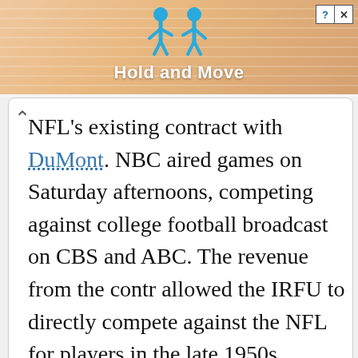[Figure (screenshot): Advertisement banner for 'Hold and Move' app/game with cartoon figures and striped background]
NFL's existing contract with DuMont. NBC aired games on Saturday afternoons, competing against college football broadcasts on CBS and ABC. The revenue from the contract allowed the IRFU to directly compete against the NFL for players in the late 1950s, setting a series of CFL games in the United States beginning in 1958 and a series of interleague exhibitions beginning in 1959. Interest in the